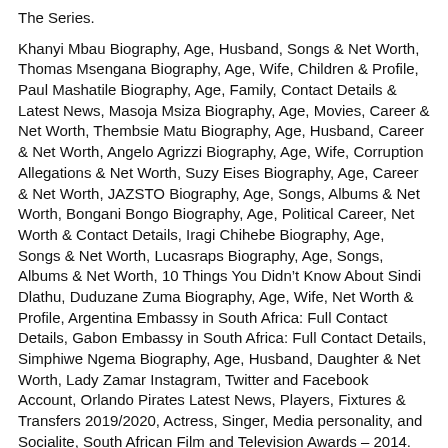The Series.
Khanyi Mbau Biography, Age, Husband, Songs & Net Worth, Thomas Msengana Biography, Age, Wife, Children & Profile, Paul Mashatile Biography, Age, Family, Contact Details & Latest News, Masoja Msiza Biography, Age, Movies, Career & Net Worth, Thembsie Matu Biography, Age, Husband, Career & Net Worth, Angelo Agrizzi Biography, Age, Wife, Corruption Allegations & Net Worth, Suzy Eises Biography, Age, Career & Net Worth, JAZSTO Biography, Age, Songs, Albums & Net Worth, Bongani Bongo Biography, Age, Political Career, Net Worth & Contact Details, Iragi Chihebe Biography, Age, Songs & Net Worth, Lucasraps Biography, Age, Songs, Albums & Net Worth, 10 Things You Didn’t Know About Sindi Dlathu, Duduzane Zuma Biography, Age, Wife, Net Worth & Profile, Argentina Embassy in South Africa: Full Contact Details, Gabon Embassy in South Africa: Full Contact Details, Simphiwe Ngema Biography, Age, Husband, Daughter & Net Worth, Lady Zamar Instagram, Twitter and Facebook Account, Orlando Pirates Latest News, Players, Fixtures & Transfers 2019/2020, Actress, Singer, Media personality, and Socialite, South African Film and Television Awards – 2014. This union made